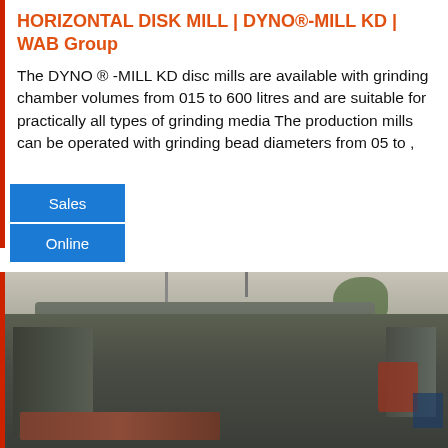HORIZONTAL DISK MILL | DYNO®-MILL KD | WAB Group
The DYNO ® -MILL KD disc mills are available with grinding chamber volumes from 015 to 600 litres and are suitable for practically all types of grinding media The production mills can be operated with grinding bead diameters from 05 to ,
Sales
Online
[Figure (photo): Industrial photo of a large horizontal disk mill machine (DYNO-MILL KD) in a factory/warehouse setting, showing heavy machinery with conveyor belt components, taken in an industrial hall with roof structure visible.]